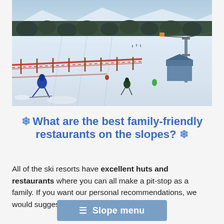[Figure (photo): Aerial view of a ski slope with skiers on a snowy run, orange/red fencing along the course, ski lift tower on the right, forested hills and mountains in the background under a clear sky.]
❄ What are the best family-friendly restaurants on the slopes? ❄
All of the ski resorts have excellent huts and restaurants where you can all make a pit-stop as a family. If you want our personal recommendations, we would suggest the following:
≡ Slope menu